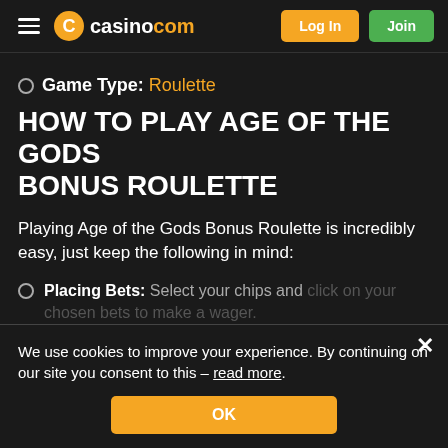casino.com — Log In | Join
Game Type: Roulette
HOW TO PLAY AGE OF THE GODS BONUS ROULETTE
Playing Age of the Gods Bonus Roulette is incredibly easy, just keep the following in mind:
Placing Bets: Select your chips and click on your chosen bets to make a wager.
Rebet: Place the same bet again.
Undo: Return all wagers to your balance (only allowed before the end of the betting round).
We use cookies to improve your experience. By continuing on our site you consent to this – read more.